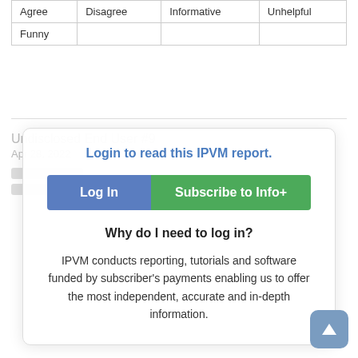| Agree | Disagree | Informative | Unhelpful |
| --- | --- | --- | --- |
| Funny |  |  |  |
Undisclosed End User #9
Apr 28, 2022
Login to read this IPVM report.
Log In
Subscribe to Info+
Why do I need to log in?
IPVM conducts reporting, tutorials and software funded by subscriber's payments enabling us to offer the most independent, accurate and in-depth information.